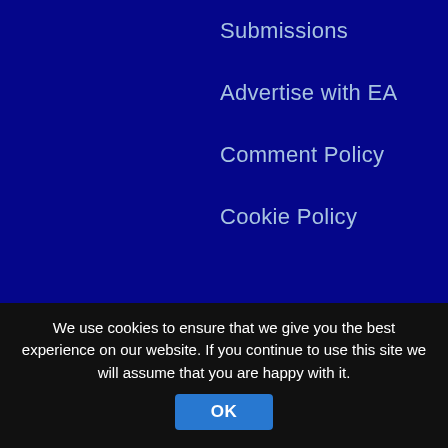Submissions
Advertise with EA
Comment Policy
Cookie Policy
Join the EA WorldView Mailing List
Subscribe to our email list to receive
We use cookies to ensure that we give you the best experience on our website. If you continue to use this site we will assume that you are happy with it.